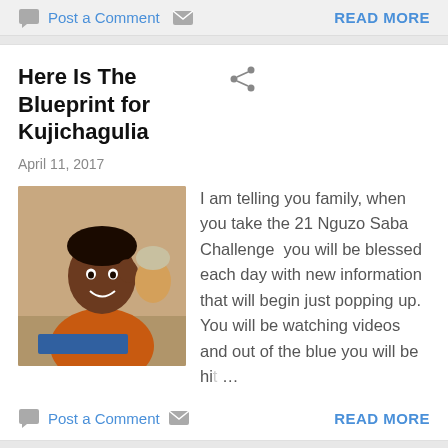Post a Comment   READ MORE
Here Is The Blueprint for Kujichagulia
April 11, 2017
[Figure (photo): A young Black boy smiling, sitting at a desk reading a book, wearing an orange shirt]
I am telling you family, when you take the 21 Nguzo Saba Challenge  you will be blessed each day with new information that will begin just popping up. You will be watching videos and out of the blue you will be hit…
Post a Comment   READ MORE
Daliy Toast- Kujichagulia 411171 "The game is not fair because we are not